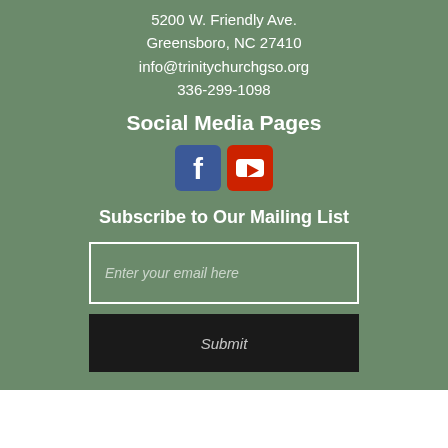5200 W. Friendly Ave.
Greensboro, NC 27410
info@trinitychurchgso.org
336-299-1098
Social Media Pages
[Figure (logo): Facebook and YouTube social media icon buttons side by side]
Subscribe to Our Mailing List
Enter your email here
Submit